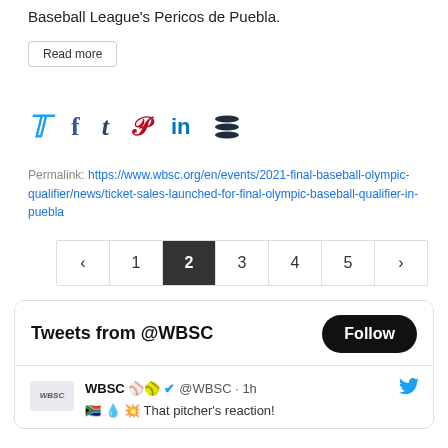Baseball League's Pericos de Puebla.
Read more
[Figure (other): Social media share icons: Twitter, Facebook, Tumblr, Pinterest, LinkedIn, Buffer]
Permalink: https://www.wbsc.org/en/events/2021-final-baseball-olympic-qualifier/news/ticket-sales-launched-for-final-olympic-baseball-qualifier-in-puebla
Pagination: ‹ 1 2 3 4 5 ›
Tweets from @WBSC
Follow
WBSC ⚾🥎 ✔ @WBSC · 1h
🇿🇦 💧 💥 That pitcher's reaction!